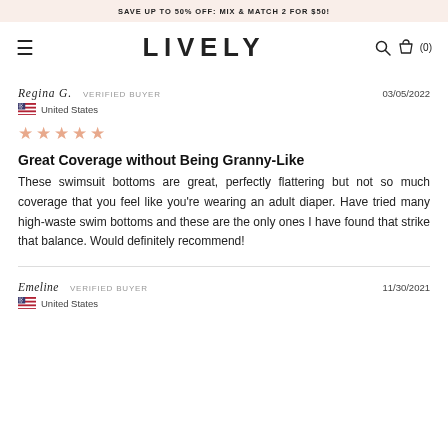SAVE UP TO 50% OFF: MIX & MATCH 2 FOR $50!
[Figure (logo): LIVELY brand logo with hamburger menu icon on left and search/cart icons on right]
Regina G.  VERIFIED BUYER
🇺🇸 United States
03/05/2022
[Figure (other): 5-star rating shown as 5 orange/salmon star icons]
Great Coverage without Being Granny-Like
These swimsuit bottoms are great, perfectly flattering but not so much coverage that you feel like you're wearing an adult diaper. Have tried many high-waste swim bottoms and these are the only ones I have found that strike that balance. Would definitely recommend!
Emeline  VERIFIED BUYER
🇺🇸 United States
11/30/2021